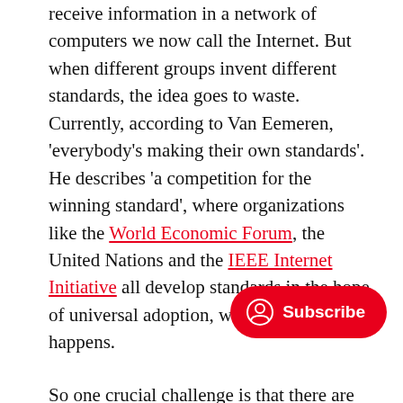receive information in a network of computers we now call the Internet. But when different groups invent different standards, the idea goes to waste. Currently, according to Van Eemeren, 'everybody's making their own standards'. He describes 'a competition for the winning standard', where organizations like the World Economic Forum, the United Nations and the IEEE Internet Initiative all develop standards in the hope of universal adoption, which rarely happens.
So one crucial challenge is that there are too many standards. Amsterdam has set an interesting example when it drafted standard purchasing terms for algorithms available to local governments throughout the
[Figure (other): Red rounded pill-shaped Subscribe button with a circular person/user icon on the left side]